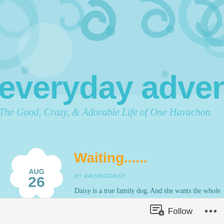[Figure (illustration): Decorative teal/light blue swirl and flourish pattern in the header area of a blog page, with circular and spiral motifs on a light blue background]
everyday adventure
The Good, Crazy, & Adorable Life of One Havachon
[Figure (illustration): White cloud/flower shaped date badge showing AUG 26]
Waiting......
BY RAISINGDAISY
Daisy is a true family dog. And she wants the whole
We noticed this at first when she was very young an
Follow ...